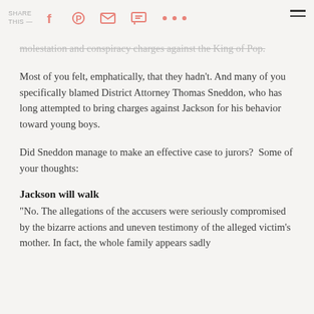SHARE THIS — [social icons: Facebook, Pinterest, Email, Message, More] [hamburger menu]
molestation and conspiracy charges against the King of Pop.
Most of you felt, emphatically, that they hadn't. And many of you specifically blamed District Attorney Thomas Sneddon, who has long attempted to bring charges against Jackson for his behavior toward young boys.
Did Sneddon manage to make an effective case to jurors?  Some of your thoughts:
Jackson will walk
"No. The allegations of the accusers were seriously compromised by the bizarre actions and uneven testimony of the alleged victim's mother. In fact, the whole family appears sadly